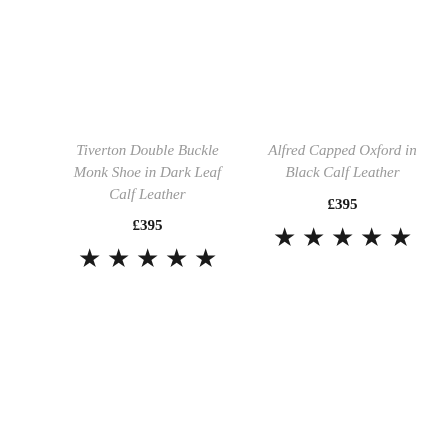Tiverton Double Buckle Monk Shoe in Dark Leaf Calf Leather
£395
[Figure (other): Five filled black stars (5-star rating)]
Alfred Capped Oxford in Black Calf Leather
£395
[Figure (other): Five filled black stars (5-star rating)]